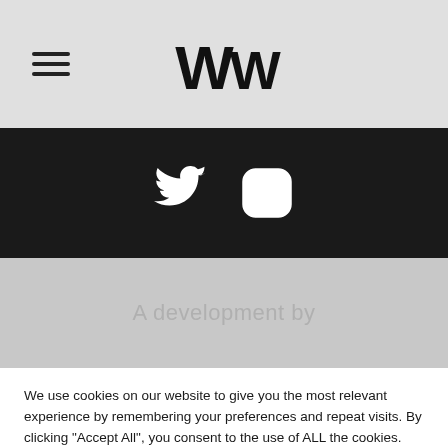WW logo with hamburger menu
[Figure (illustration): Social media icons: Twitter bird and Instagram camera on dark background]
A development by
We use cookies on our website to give you the most relevant experience by remembering your preferences and repeat visits. By clicking "Accept All", you consent to the use of ALL the cookies. However, you may visit "Cookie Settings" to provide a controlled consent.
Cookie Settings | Accept All